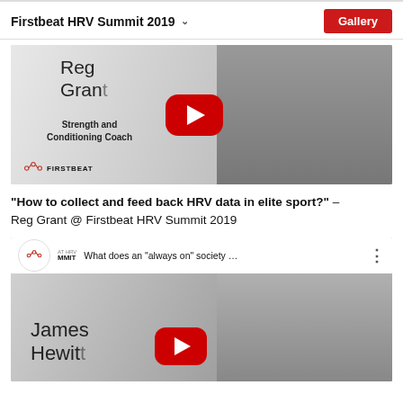Firstbeat HRV Summit 2019
[Figure (screenshot): YouTube video thumbnail for Reg Grant, Strength and Conditioning Coach, with Firstbeat logo and red YouTube play button overlay]
“How to collect and feed back HRV data in elite sport?” – Reg Grant @ Firstbeat HRV Summit 2019
[Figure (screenshot): YouTube video embed showing 'What does an "always on" society ...' with Firstbeat logo, featuring James Hewit with red YouTube play button overlay]